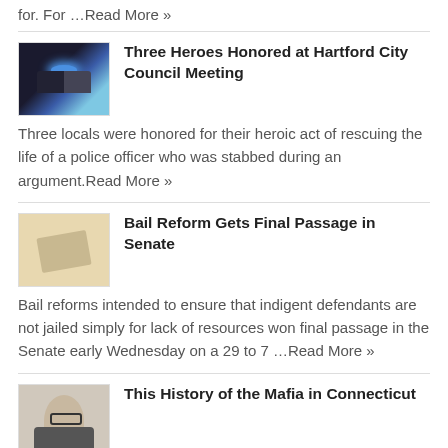for. For …Read More »
[Figure (photo): Thumbnail image of police car with blue lights]
Three Heroes Honored at Hartford City Council Meeting
Three locals were honored for their heroic act of rescuing the life of a police officer who was stabbed during an argument.Read More »
[Figure (photo): Thumbnail image related to bail reform, showing documents or papers]
Bail Reform Gets Final Passage in Senate
Bail reforms intended to ensure that indigent defendants are not jailed simply for lack of resources won final passage in the Senate early Wednesday on a 29 to 7 …Read More »
[Figure (photo): Thumbnail image of a man in suit, historical black and white photo related to Mafia history in Connecticut]
This History of the Mafia in Connecticut
Believe it or not, but the Mafia actually has a rich and colorful history in Connecticut. Though many parts of Connecticut are rural and quaint, crime still managed to …Read More »